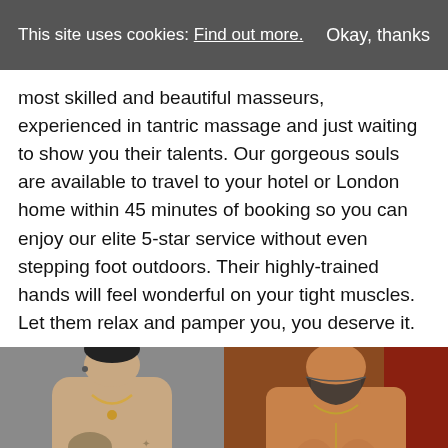This site uses cookies: Find out more. | Okay, thanks
most skilled and beautiful masseurs, experienced in tantric massage and just waiting to show you their talents. Our gorgeous souls are available to travel to your hotel or London home within 45 minutes of booking so you can enjoy our elite 5-star service without even stepping foot outdoors. Their highly-trained hands will feel wonderful on your tight muscles. Let them relax and pamper you, you deserve it.
[Figure (photo): Shirtless male masseur with tattoos on chest and a necklace, photographed against a grey background, torso/upper body shot]
[Figure (photo): Shirtless muscular male masseur wearing a bandana around neck and a chain necklace, photographed in a warm-toned setting]